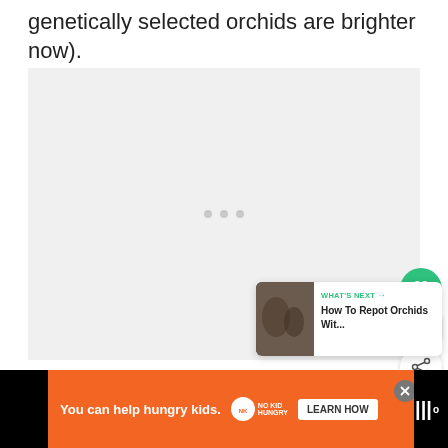genetically selected orchids are brighter now).
[Figure (photo): Large light gray placeholder image area with three small gray dots centered, indicating loading or empty image. A green heart/like button and share button are overlaid on the right side with a count of 3. A 'What's Next' card shows 'How To Repot Orchids Wit...' with a thumbnail.]
WHAT'S NEXT → How To Repot Orchids Wit...
You can help hungry kids.  NO KID HUNGRY  LEARN HOW